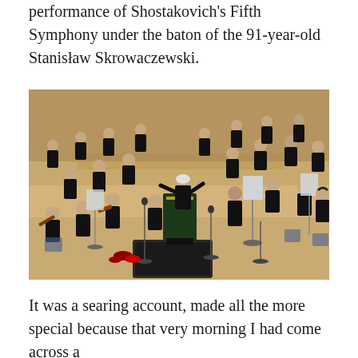performance of Shostakovich's Fifth Symphony under the baton of the 91-year-old Stanisław Skrowaczewski.
[Figure (photo): Orchestra musicians in formal black attire on a concert hall stage with warm wooden floors. A conductor stands at the center podium. Violinists and other string players surround him. Microphone stands and music stands are visible throughout. Red roses are on the floor near the front.]
It was a searing account, made all the more special because that very morning I had come across a